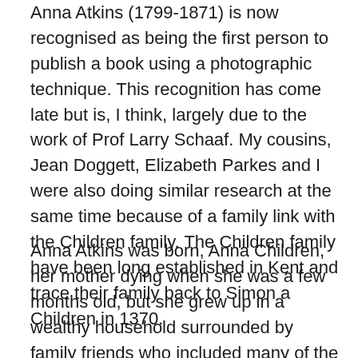Anna Atkins (1799-1871) is now recognised as being the first person to publish a book using a photographic technique. This recognition has come late but is, I think, largely due to the work of Prof Larry Schaaf. My cousins, Jean Doggett, Elizabeth Parkes and I were also doing similar research at the same time because of a family link with the Children family. The Children family have been long established in Kent and trace their family back to Simon a Children in 1370.
Anna Atkins was born, Anna Children, her mother dying when she was a few months old, but she grew up in a wealthy household surrounded by family friends who included many of the great Gentlemen Scientists of the Regency period and later. These included Sir Humphry Davy, Dr W H Wollaston, Sir Joseph Banks, the Herschels and William Henry Fox Talbot. Her father, John George